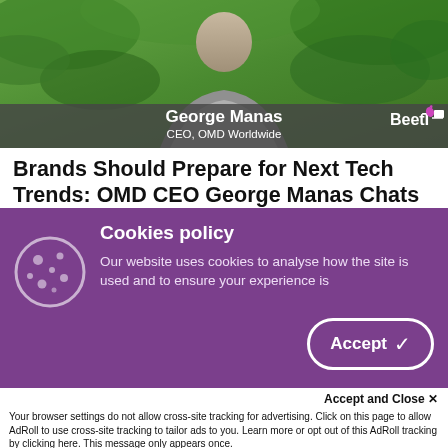[Figure (screenshot): Video thumbnail showing a person (George Manas) against a green background with an overlay bar showing name and title, and BeetTV logo]
Brands Should Prepare for Next Tech Trends: OMD CEO George Manas Chats With Omnicom Media's Ben Hovaness
CANNES – Separating passing fads from enduring innovations can vex marketers as they decide what kinds of technologies to adopt in their advertising. Lately, there is consistent discussion about Web3 as the next stage in interactive media after the commercialization of the internet and the growth of social media. Web3 is seen as a more
Cookies policy
Our website uses cookies to analyse how the site is used and to ensure your experience is
Accept and Close ✕
Your browser settings do not allow cross-site tracking for advertising. Click on this page to allow AdRoll to use cross-site tracking to tailor ads to you. Learn more or opt out of this AdRoll tracking by clicking here. This message only appears once.